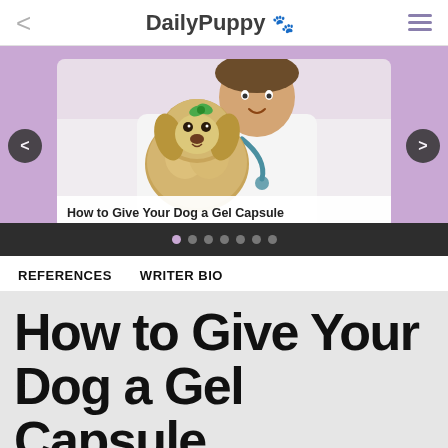DailyPuppy 🐾
[Figure (screenshot): Carousel image showing a small fluffy dog (Shih Tzu) being held by a veterinarian in a white coat with a stethoscope, on a purple background. Caption reads: How to Give Your Dog a Gel Capsule]
REFERENCES
WRITER BIO
How to Give Your Dog a Gel Capsule